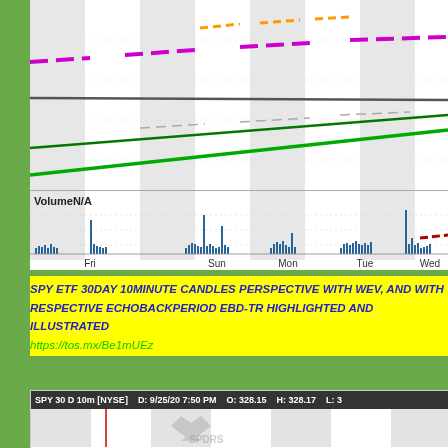[Figure (continuous-plot): SPY ETF stock chart top portion showing price with colored trend lines (orange dashes, magenta dashes, gray solid, green lines, dark red dashes) over striped gray/white background with vertical bands. Volume sub-chart below showing blue bar chart with peaks on Fri, Sun, Mon, Tue, Wed columns.]
SPY ETF 30DAY 10MINUTE CANDLES PERSPECTIVE WITH WEV, AND WITH RESPECTIVE ECHOBACKPERIOD EBD-TR HIGHLIGHTED AND ILLUSTRATED
https://tos.mx/Be1mUEz
[Figure (screenshot): SPY 30 D 10m [NYSE] chart header showing D: 9/25/20 7:50 PM  O: 328.15  H: 328.17  L: 3... with SPDR logo watermark visible in the chart area below]